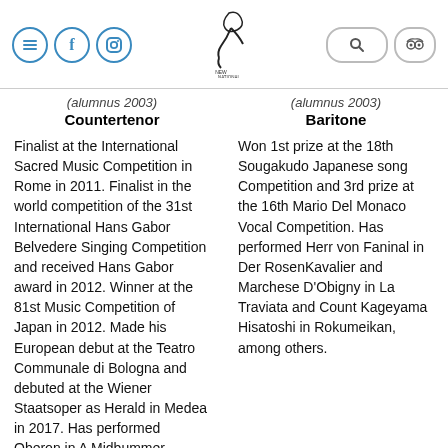New National Theatre Tokyo — navigation header with menu, social icons, logo, search, and tripadvisor icons
(alumnus 2003)
Countertenor
(alumnus 2003)
Baritone
Finalist at the International Sacred Music Competition in Rome in 2011. Finalist in the world competition of the 31st International Hans Gabor Belvedere Singing Competition and received Hans Gabor award in 2012. Winner at the 81st Music Competition of Japan in 2012. Made his European debut at the Teatro Communale di Bologna and debuted at the Wiener Staatsoper as Herald in Medea in 2017. Has performed Oberon in A Midbummer Night's Dream and Akira in Super Angels at the New National Theare
Won 1st prize at the 18th Sougakudo Japanese song Competition and 3rd prize at the 16th Mario Del Monaco Vocal Competition. Has performed Herr von Faninal in Der RosenKavalier and Marchese D'Obigny in La Traviata and Count Kageyama Hisatoshi in Rokumeikan, among others.